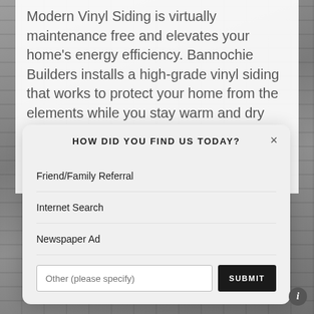Modern Vinyl Siding is virtually maintenance free and elevates your home's energy efficiency. Bannochie Builders installs a high-grade vinyl siding that works to protect your home from the elements while you stay warm and dry inside. The dual layer of protection offers a barrier to winter weather and deflects the summer sun.
[Figure (screenshot): A modal dialog box with title 'HOW DID YOU FIND US TODAY?' containing three options: Friend/Family Referral, Internet Search, Newspaper Ad, along with a text input field labeled 'Other (please specify)' and a SUBMIT button. A close (×) button is in the top right of the modal.]